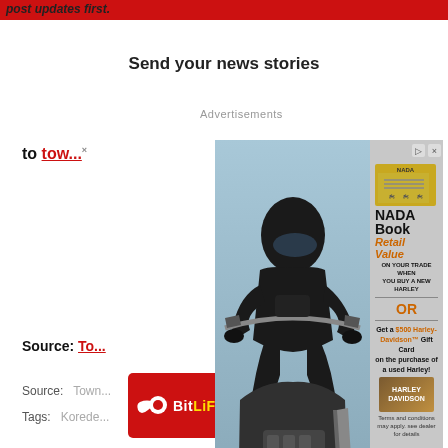post updates first.
Send your news stories
Advertisements
to tow...
Source: To...
Source:   Town...
Tags:   Korede...
Join...
[Figure (photo): Advertisement overlay showing a motorcycle rider on a Harley-Davidson with NADA Book Retail Value promotion and John Elway Harley-Davidson branding. Offers NADA Book Retail Value on trade when buying a new Harley, or a $500 Harley-Davidson Gift Card on purchase of a used Harley. Terms and conditions may apply, see dealer for details.]
[Figure (screenshot): BitLife mobile game advertisement showing 'Murder Do it!' with a blue button, red background with BitLife logo in yellow and white text.]